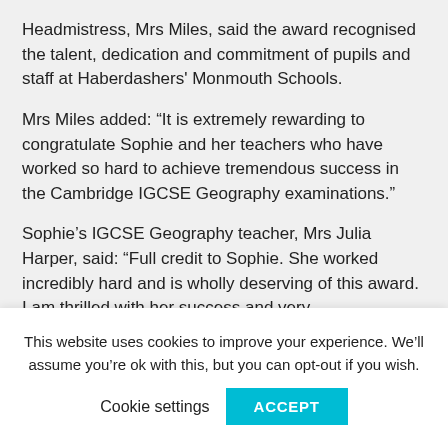Headmistress, Mrs Miles, said the award recognised the talent, dedication and commitment of pupils and staff at Haberdashers' Monmouth Schools.
Mrs Miles added: “It is extremely rewarding to congratulate Sophie and her teachers who have worked so hard to achieve tremendous success in the Cambridge IGCSE Geography examinations.”
Sophie’s IGCSE Geography teacher, Mrs Julia Harper, said: “Full credit to Sophie. She worked incredibly hard and is wholly deserving of this award. I am thrilled with her success and very
This website uses cookies to improve your experience. We’ll assume you’re ok with this, but you can opt-out if you wish.
Cookie settings   ACCEPT